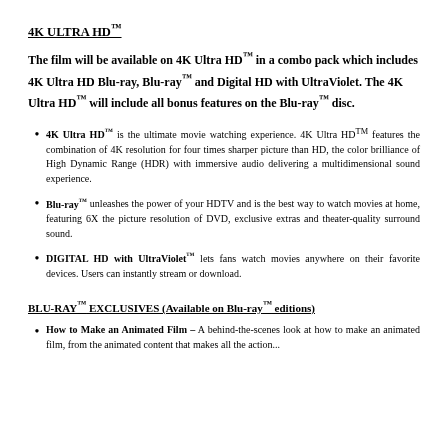4K ULTRA HD™
The film will be available on 4K Ultra HD™ in a combo pack which includes 4K Ultra HD Blu-ray, Blu-ray™ and Digital HD with UltraViolet. The 4K Ultra HD™ will include all bonus features on the Blu-ray™ disc.
4K Ultra HD™ is the ultimate movie watching experience. 4K Ultra HD™ features the combination of 4K resolution for four times sharper picture than HD, the color brilliance of High Dynamic Range (HDR) with immersive audio delivering a multidimensional sound experience.
Blu-ray™ unleashes the power of your HDTV and is the best way to watch movies at home, featuring 6X the picture resolution of DVD, exclusive extras and theater-quality surround sound.
DIGITAL HD with UltraViolet™ lets fans watch movies anywhere on their favorite devices. Users can instantly stream or download.
BLU-RAY™ EXCLUSIVES (Available on Blu-ray™ editions)
How to Make an Animated Film – A behind-the-scenes look at how to make an animated film, from the animated content that makes all the action...